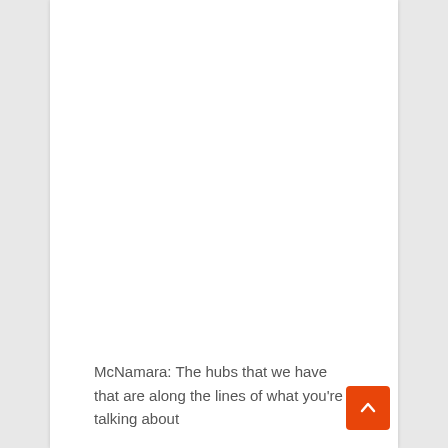McNamara: The hubs that we have that are along the lines of what you're talking about